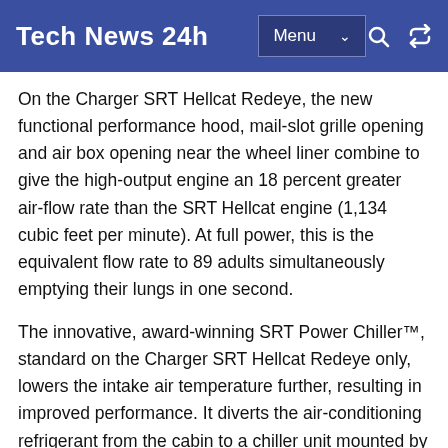Tech News 24h
On the Charger SRT Hellcat Redeye, the new functional performance hood, mail-slot grille opening and air box opening near the wheel liner combine to give the high-output engine an 18 percent greater air-flow rate than the SRT Hellcat engine (1,134 cubic feet per minute). At full power, this is the equivalent flow rate to 89 adults simultaneously emptying their lungs in one second.
The innovative, award-winning SRT Power Chiller™, standard on the Charger SRT Hellcat Redeye only, lowers the intake air temperature further, resulting in improved performance. It diverts the air-conditioning refrigerant from the cabin to a chiller unit mounted by the low-temperature circuit coolant pump. Charge air coolant, after being cooled by ambient air passing through a low-temperature radiator at the front of the vehicle, flows through the chiller unit, where it is